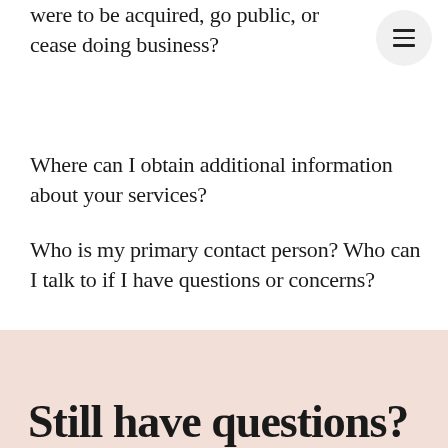were to be acquired, go public, or cease doing business?
Where can I obtain additional information about your services?
Who is my primary contact person? Who can I talk to if I have questions or concerns?
Still have questions?